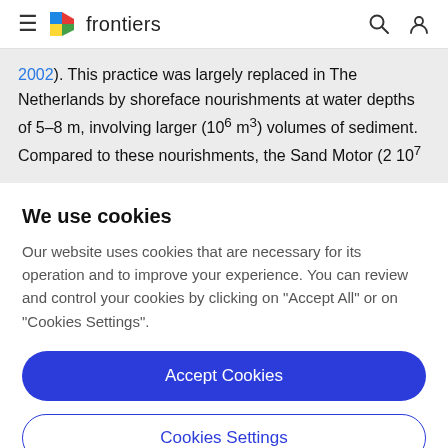frontiers
2002). This practice was largely replaced in The Netherlands by shoreface nourishments at water depths of 5–8 m, involving larger (10⁶ m³) volumes of sediment. Compared to these nourishments, the Sand Motor (2 10⁷
We use cookies
Our website uses cookies that are necessary for its operation and to improve your experience. You can review and control your cookies by clicking on "Accept All" or on "Cookies Settings".
Accept Cookies
Cookies Settings